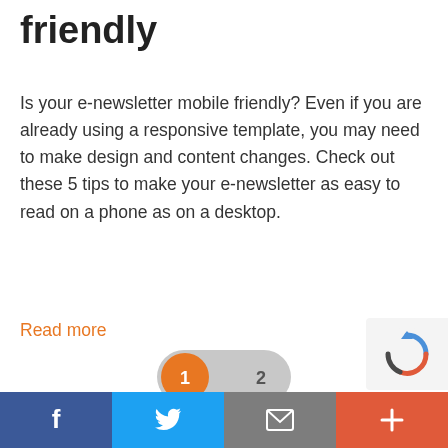friendly
Is your e-newsletter mobile friendly? Even if you are already using a responsive template, you may need to make design and content changes. Check out these 5 tips to make your e-newsletter as easy to read on a phone as on a desktop.
Read more
[Figure (other): Pagination toggle showing page 1 (active, orange) and page 2]
[Figure (other): reCAPTCHA badge in bottom right corner]
Facebook | Twitter | Email | Plus social share buttons